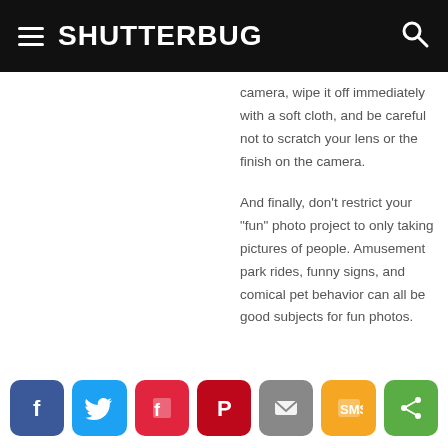SHUTTERBUG
camera, wipe it off immediately with a soft cloth, and be careful not to scratch your lens or the finish on the camera.
And finally, don't restrict your "fun" photo project to only taking pictures of people. Amusement park rides, funny signs, and comical pet behavior can all be good subjects for fun photos.
[Figure (other): Social sharing buttons: Facebook, Twitter, Flipboard, Pinterest, Email, SMS, Share]